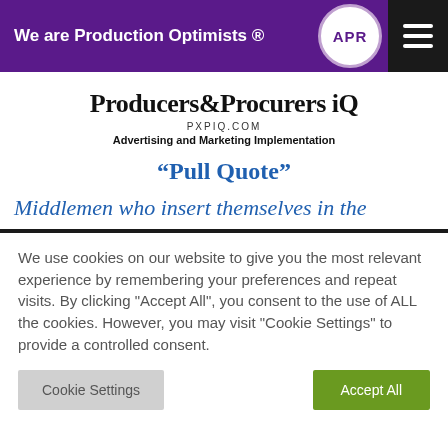We are Production Optimists ® APR
[Figure (logo): Producers & Procurers iQ logo with PXPIQ.COM and tagline Advertising and Marketing Implementation]
“Pull Quote”
Middlemen who insert themselves in the
We use cookies on our website to give you the most relevant experience by remembering your preferences and repeat visits. By clicking "Accept All", you consent to the use of ALL the cookies. However, you may visit "Cookie Settings" to provide a controlled consent.
Cookie Settings | Accept All